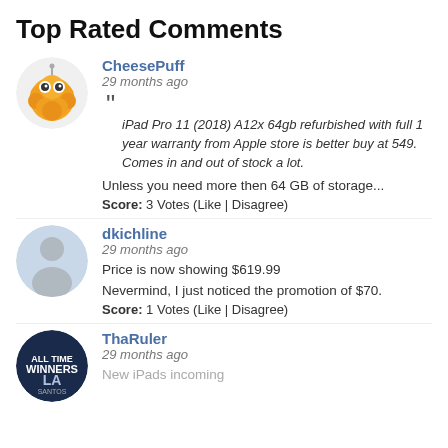Top Rated Comments
[Figure (illustration): CheesePuff avatar: round orange puffball character with googly eyes]
CheesePuff
29 months ago
iPad Pro 11 (2018) A12x 64gb refurbished with full 1 year warranty from Apple store is better buy at 549. Comes in and out of stock a lot.
Unless you need more then 64 GB of storage...
Score: 3 Votes (Like | Disagree)
[Figure (illustration): dkichline avatar: generic silhouette person on light blue background]
dkichline
29 months ago
Price is now showing $619.99
Nevermind, I just noticed the promotion of $70.
Score: 1 Votes (Like | Disagree)
[Figure (illustration): ThaRuler avatar: dark navy circle with LA Dodgers logo]
ThaRuler
29 months ago
New iPads incoming